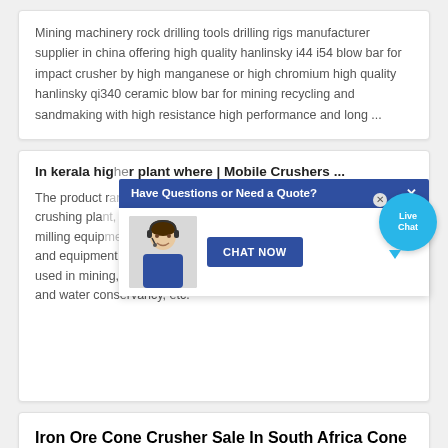Mining machinery rock drilling tools drilling rigs manufacturer supplier in china offering high quality hanlinsky i44 i54 blow bar for impact crusher by high manganese or high chromium high quality hanlinsky qi340 ceramic blow bar for mining recycling and sandmaking with high resistance high performance and long ...
In kerala high crusher plant where | Mobile Crushers ...
[Figure (screenshot): A popup overlay with a blue bar saying 'Have Questions or Need a Quote?' with a close X button, showing a customer service representative photo and a 'CHAT NOW' button. A 'Live Chat' speech bubble appears in the top right.]
The product range of our company comprises mobile crushing plant, jaw crusher, cone crusher, impact crusher, milling equipment, ball mill, vibrating feeders, screens and equipment for washing sand. Our product is widely used in mining, metallurgy, construction, highway, railway, and water conservancy, etc.
Iron Ore Cone Crusher Sale In South Africa Cone Crusher